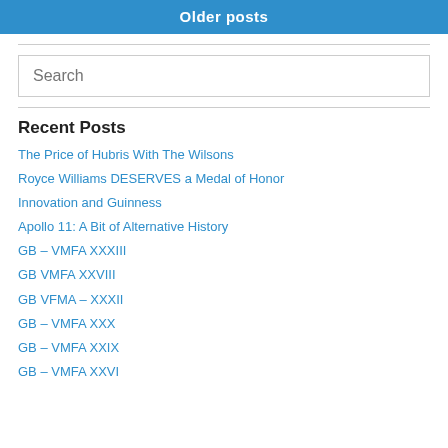Older posts
Recent Posts
The Price of Hubris With The Wilsons
Royce Williams DESERVES a Medal of Honor
Innovation and Guinness
Apollo 11: A Bit of Alternative History
GB – VMFA XXXIII
GB VMFA XXVIII
GB VFMA – XXXII
GB – VMFA XXX
GB – VMFA XXIX
GB – VMFA XXVI